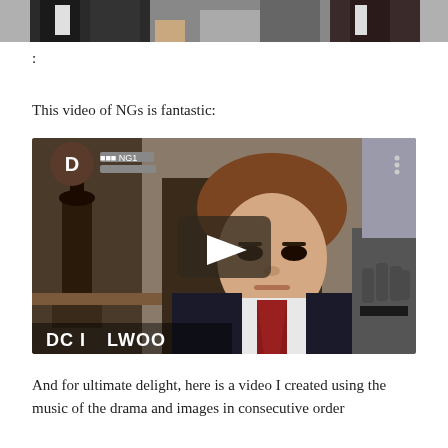[Figure (photo): Top portion of photo showing people in formal black suits, cropped at the bottom]
:
This video of NGs is fantastic:
[Figure (screenshot): YouTube video thumbnail showing a young man in a dark suit and red tie. Overlay shows a play button in the center. Top left shows a dark circular avatar with letter D and Korean text followed by NG1. Bottom left watermark reads DC ILWOO. Top right shows three-dot menu icon.]
And for ultimate delight, here is a video I created using the music of the drama and images in consecutive order